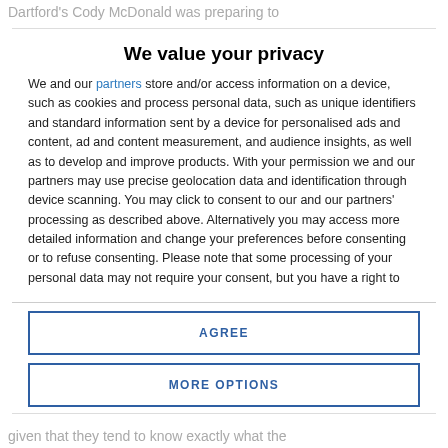Dartford's Cody McDonald was preparing to
We value your privacy
We and our partners store and/or access information on a device, such as cookies and process personal data, such as unique identifiers and standard information sent by a device for personalised ads and content, ad and content measurement, and audience insights, as well as to develop and improve products. With your permission we and our partners may use precise geolocation data and identification through device scanning. You may click to consent to our and our partners' processing as described above. Alternatively you may access more detailed information and change your preferences before consenting or to refuse consenting. Please note that some processing of your personal data may not require your consent, but you have a right to
AGREE
MORE OPTIONS
given that they tend to know exactly what the